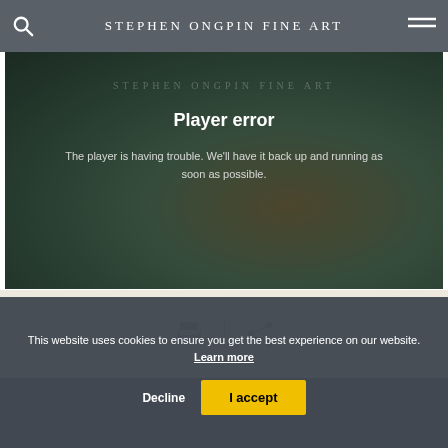Stephen Ongpin Fine Art
[Figure (screenshot): Video player error overlay on a dark artistic background showing tropical/botanical imagery. Text reads 'Player error' in bold white, and 'The player is having trouble. We'll have it back up and running as soon as possible.' in lighter white text.]
[Figure (other): Print icon and share icon separated by a vertical divider line, on a cream background]
This website uses cookies to ensure you get the best experience on our website. Learn more
Decline
I accept